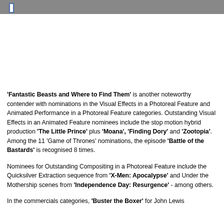'Fantastic Beasts and Where to Find Them' is another noteworthy contender with nominations in the Visual Effects in a Photoreal Feature and Animated Performance in a Photoreal Feature categories. Outstanding Visual Effects in an Animated Feature nominees include the stop motion hybrid production 'The Little Prince' plus 'Moana', 'Finding Dory' and 'Zootopia'. Among the 11 'Game of Thrones' nominations, the episode 'Battle of the Bastards' is recognised 8 times.
Nominees for Outstanding Compositing in a Photoreal Feature include the Quicksilver Extraction sequence from 'X-Men: Apocalypse' and Under the Mothership scenes from 'Independence Day: Resurgence' - among others.
In the commercials categories, 'Buster the Boxer' for John Lewis